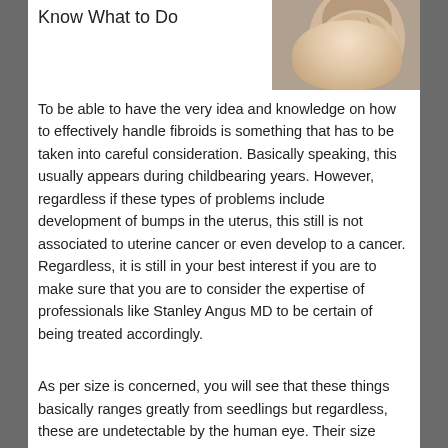Know What to Do
[Figure (photo): Close-up photo of a woman's face with lines drawn on it, possibly indicating a medical or cosmetic procedure markup.]
To be able to have the very idea and knowledge on how to effectively handle fibroids is something that has to be taken into careful consideration. Basically speaking, this usually appears during childbearing years. However, regardless if these types of problems include development of bumps in the uterus, this still is not associated to uterine cancer or even develop to a cancer. Regardless, it is still in your best interest if you are to make sure that you are to consider the expertise of professionals like Stanley Angus MD to be certain of being treated accordingly.
As per size is concerned, you will see that these things basically ranges greatly from seedlings but regardless, these are undetectable by the human eye. Their size could definitely distort the uterus in some way as they